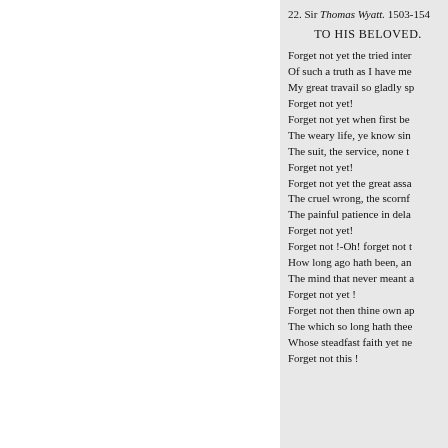22. Sir Thomas Wyatt. 1503-154
TO HIS BELOVED.
Forget not yet the tried inter
Of such a truth as I have me
My great travail so gladly sp
Forget not yet!
Forget not yet when first be
The weary life, ye know sin
The suit, the service, none t
Forget not yet!
Forget not yet the great assa
The cruel wrong, the scornf
The painful patience in dela
Forget not yet!
Forget not !-Oh! forget not t
How long ago hath been, an
The mind that never meant a
Forget not yet !
Forget not then thine own ap
The which so long hath thee
Whose steadfast faith yet ne
Forget not this !